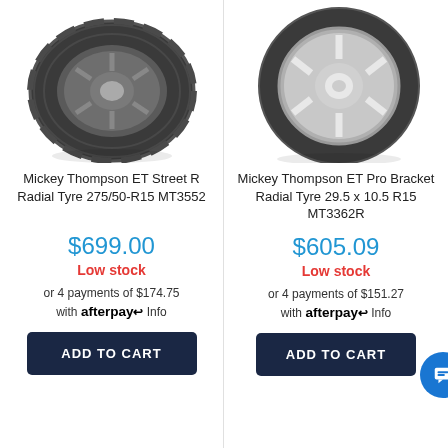[Figure (photo): Mickey Thompson ET Street R Radial Tyre with dark alloy wheel, side view]
Mickey Thompson ET Street R Radial Tyre 275/50-R15 MT3552
$699.00
Low stock
or 4 payments of $174.75 with afterpay Info
ADD TO CART
[Figure (photo): Mickey Thompson ET Pro Bracket Radial Tyre with chrome wheel, front/side view]
Mickey Thompson ET Pro Bracket Radial Tyre 29.5 x 10.5 R15 MT3362R
$605.09
Low stock
or 4 payments of $151.27 with afterpay Info
ADD TO CART